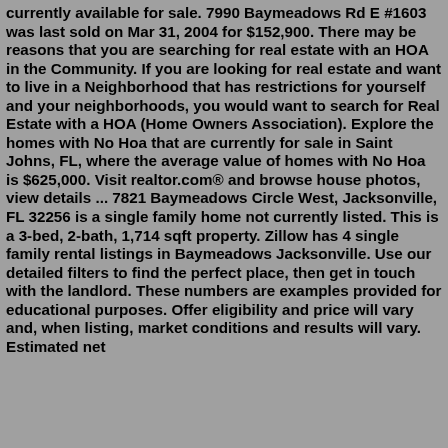currently available for sale. 7990 Baymeadows Rd E #1603 was last sold on Mar 31, 2004 for $152,900. There may be reasons that you are searching for real estate with an HOA in the Community. If you are looking for real estate and want to live in a Neighborhood that has restrictions for yourself and your neighborhoods, you would want to search for Real Estate with a HOA (Home Owners Association). Explore the homes with No Hoa that are currently for sale in Saint Johns, FL, where the average value of homes with No Hoa is $625,000. Visit realtor.com® and browse house photos, view details ... 7821 Baymeadows Circle West, Jacksonville, FL 32256 is a single family home not currently listed. This is a 3-bed, 2-bath, 1,714 sqft property. Zillow has 4 single family rental listings in Baymeadows Jacksonville. Use our detailed filters to find the perfect place, then get in touch with the landlord. These numbers are examples provided for educational purposes. Offer eligibility and price will vary and, when listing, market conditions and results will vary. Estimated net